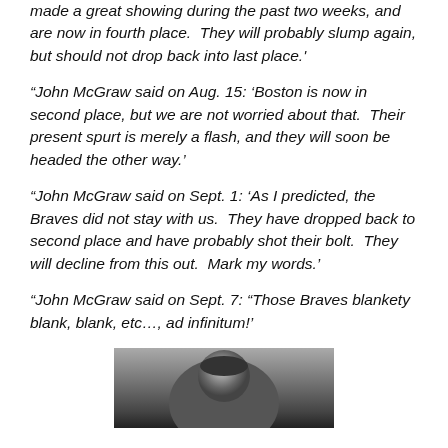made a great showing during the past two weeks, and are now in fourth place.  They will probably slump again, but should not drop back into last place.'
“John McGraw said on Aug. 15: ‘Boston is now in second place, but we are not worried about that.  Their present spurt is merely a flash, and they will soon be headed the other way.’
“John McGraw said on Sept. 1: ‘As I predicted, the Braves did not stay with us.  They have dropped back to second place and have probably shot their bolt.  They will decline from this out.  Mark my words.’
“John McGraw said on Sept. 7: “Those Braves blankety blank, blank, etc…, ad infinitum!’
[Figure (photo): Black and white photograph, top portion visible showing a person's head/portrait, cropped at bottom of page]